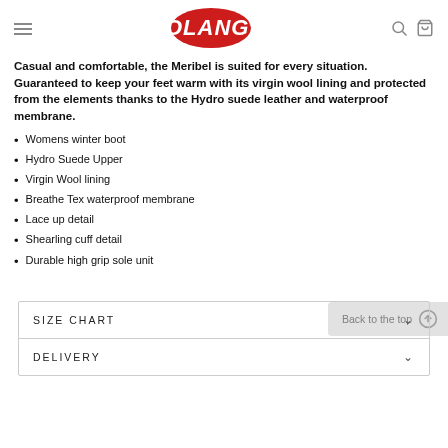OLANG (logo)
Casual and comfortable, the Meribel is suited for every situation. Guaranteed to keep your feet warm with its virgin wool lining and protected from the elements thanks to the Hydro suede leather and waterproof membrane.
Womens winter boot
Hydro Suede Upper
Virgin Wool lining
Breathe Tex waterproof membrane
Lace up detail
Shearling cuff detail
Durable high grip sole unit
Back to the top
SIZE CHART
DELIVERY